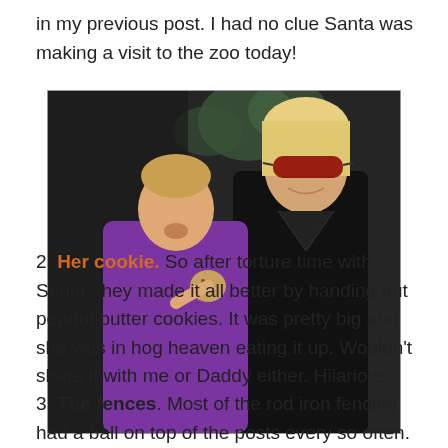in my previous post.  I had no clue Santa was making a visit to the zoo today!
[Figure (photo): A woman wearing sunglasses and a black outfit holds a young toddler girl in a purple jacket who is eating a cookie. Background appears to be outdoors.]
2.  Her cookie.  So after torture time with Santa, they made it all better by handing out peanut butter cookies.  It was pretty big and she was in hog heaven eating it up.  Wouldn't share it with me or Daddy either.  Hilarious!
3.  The fences.  Most of the rod iron fencing had a ball on top of the posts every so often.  She was obsessed with the balls on the fence posts and kept pointing them out